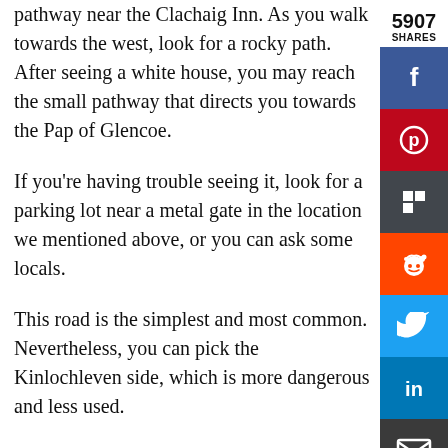pathway near the Clachaig Inn. As you walk towards the west, look for a rocky path. After seeing a white house, you may reach the small pathway that directs you towards the Pap of Glencoe.
If you're having trouble seeing it, look for a parking lot near a metal gate in the location we mentioned above, or you can ask some locals.
This road is the simplest and most common. Nevertheless, you can pick the Kinlochleven side, which is more dangerous and less used.
When you're exploring new areas, especially natural ones, it's better to hike in